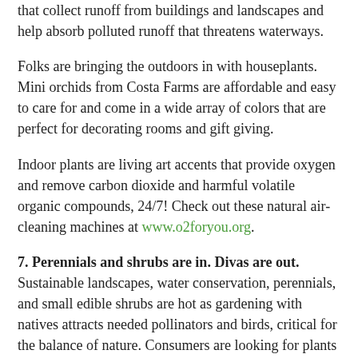that collect runoff from buildings and landscapes and help absorb polluted runoff that threatens waterways.
Folks are bringing the outdoors in with houseplants. Mini orchids from Costa Farms are affordable and easy to care for and come in a wide array of colors that are perfect for decorating rooms and gift giving.
Indoor plants are living art accents that provide oxygen and remove carbon dioxide and harmful volatile organic compounds, 24/7! Check out these natural air-cleaning machines at www.o2foryou.org.
7. Perennials and shrubs are in. Divas are out.
Sustainable landscapes, water conservation, perennials, and small edible shrubs are hot as gardening with natives attracts needed pollinators and birds, critical for the balance of nature. Consumers are looking for plants that are easy care, have great color, and are pest and drought resistant. Centerton Nursery's new hardy early and repeat-blooming daylily — Jersey Earlybird 'Cardinal' — is a fire-engine-red color that's perfect in beds, borders, and containers in Zones